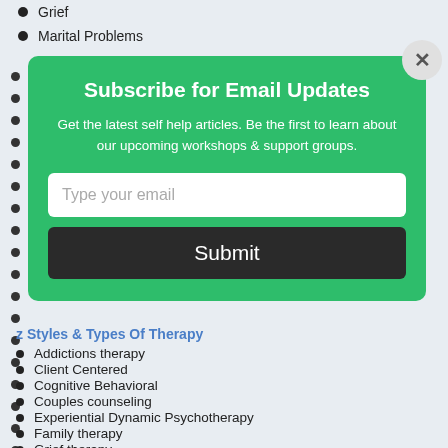Grief
Marital Problems
[Figure (screenshot): Email subscription modal popup with green background, title 'Subscribe for Email Updates', subtitle text, email input field, and Submit button. Has an X close button in top right corner.]
z Styles & Types Of Therapy
Addictions therapy
Client Centered
Cognitive Behavioral
Couples counseling
Experiential Dynamic Psychotherapy
Family therapy
Grief therapy
Group therapy